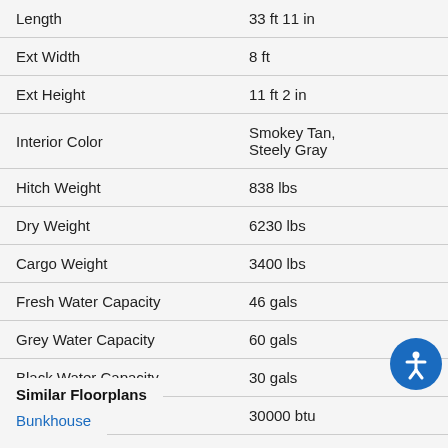| Specification | Value |
| --- | --- |
| Length | 33 ft 11 in |
| Ext Width | 8 ft |
| Ext Height | 11 ft 2 in |
| Interior Color | Smokey Tan, Steely Gray |
| Hitch Weight | 838 lbs |
| Dry Weight | 6230 lbs |
| Cargo Weight | 3400 lbs |
| Fresh Water Capacity | 46 gals |
| Grey Water Capacity | 60 gals |
| Black Water Capacity | 30 gals |
| Furnace BTU | 30000 btu |
| Number Of Bunks | 2 |
Similar Floorplans
Bunkhouse